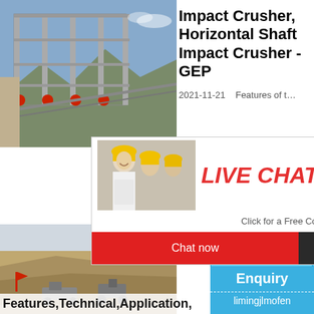[Figure (photo): Industrial plant/facility with large steel structure, conveyor belts, and equipment against blue sky]
Impact Crusher, Horizontal Shaft Impact Crusher - GEP
2021-11-21    Features of t…
[Figure (photo): Live chat popup overlay showing workers in yellow hard hats, with LIVE CHAT title in red italic text, 'Click for a Free Consultation' subtitle, and two buttons: 'Chat now' (red) and 'Chat later' (dark)]
PFW Im
[Figure (photo): Quarry mining site with excavators and rock crushing equipment on hillside]
Features,Technical,Application,
[Figure (photo): Impact crusher machine product photo on blue sidebar background]
hour online
Click me to chat>>
Enquiry
limingjlmofen